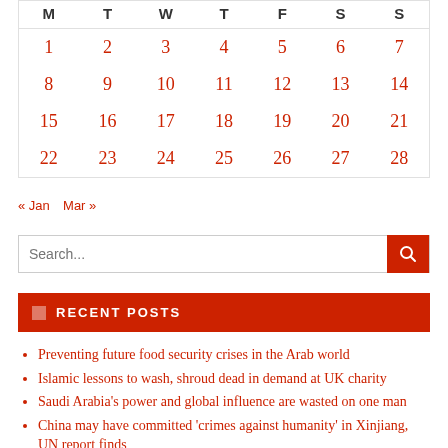| M | T | W | T | F | S | S |
| --- | --- | --- | --- | --- | --- | --- |
| 1 | 2 | 3 | 4 | 5 | 6 | 7 |
| 8 | 9 | 10 | 11 | 12 | 13 | 14 |
| 15 | 16 | 17 | 18 | 19 | 20 | 21 |
| 22 | 23 | 24 | 25 | 26 | 27 | 28 |
« Jan   Mar »
Search...
RECENT POSTS
Preventing future food security crises in the Arab world
Islamic lessons to wash, shroud dead in demand at UK charity
Saudi Arabia's power and global influence are wasted on one man
China may have committed 'crimes against humanity' in Xinjiang, UN report finds